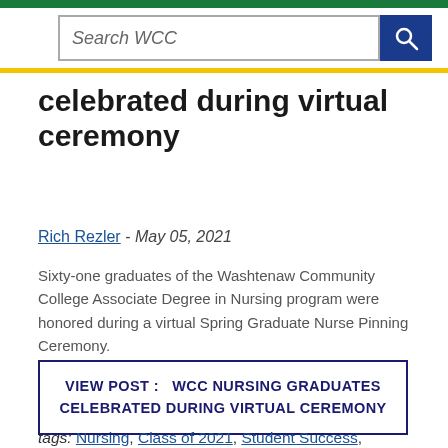Search WCC
celebrated during virtual ceremony
Rich Rezler - May 05, 2021
Sixty-one graduates of the Washtenaw Community College Associate Degree in Nursing program were honored during a virtual Spring Graduate Nurse Pinning Ceremony.
VIEW POST :   WCC NURSING GRADUATES CELEBRATED DURING VIRTUAL CEREMONY
tags: Nursing, Class of 2021, Student Success, ousearch_News_2021,